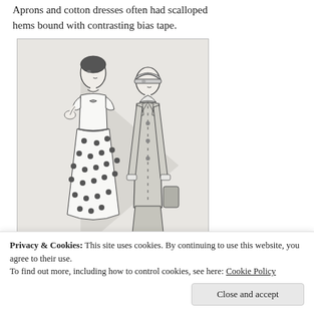Aprons and cotton dresses often had scalloped hems bound with contrasting bias tape.
[Figure (illustration): Black and white fashion illustration showing two women in 1920s style clothing. The left figure wears a polka-dot dress with short sleeves and a bow detail; the right figure wears a long jacket with a cloche hat.]
Privacy & Cookies: This site uses cookies. By continuing to use this website, you agree to their use.
To find out more, including how to control cookies, see here: Cookie Policy